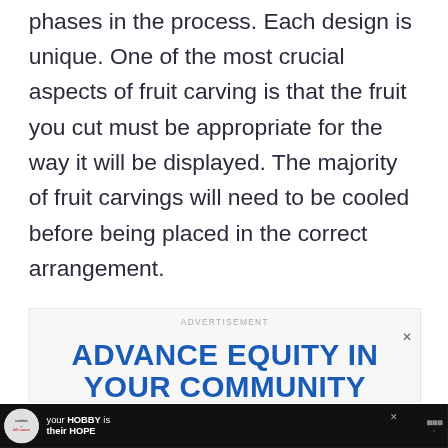phases in the process. Each design is unique. One of the most crucial aspects of fruit carving is that the fruit you cut must be appropriate for the way it will be displayed. The majority of fruit carvings will need to be cooled before being placed in the correct arrangement.
[Figure (other): Advertisement box with label 'ADVERTISEMENT' and bold blue text 'ADVANCE EQUITY IN YOUR COMMUNITY' with close button X]
[Figure (other): Bottom banner ad on black background: Cookies for Kid's Cancer logo (circular), text 'your HOBBY is their HOPE' in white bold text, close X button, Toolbelt logo on right]